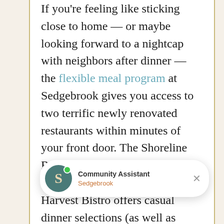If you're feeling like sticking close to home — or maybe looking forward to a nightcap with neighbors after dinner — the flexible meal program at Sedgebrook gives you access to two terrific newly renovated restaurants within minutes of your front door. The Shoreline Restaurant serves formal dinner with full table service, while the Harvest Bistro offers casual dinner selections (as well as breakfast, lunch and carryout for your convenience). When you... true ta... as a resident at Sedgebrook, you're...